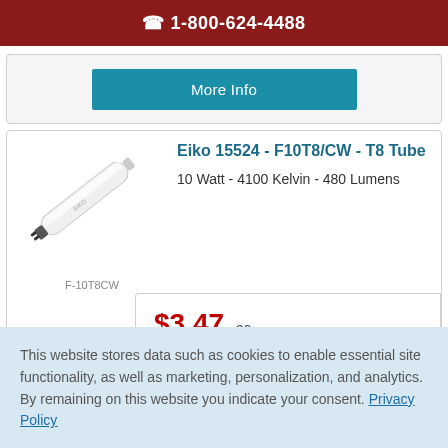1-800-624-4488
More Info
Eiko 15524 - F10T8/CW - T8 Tube
10 Watt - 4100 Kelvin - 480 Lumens
F-10T8CW
$3.47 ea.
This website stores data such as cookies to enable essential site functionality, as well as marketing, personalization, and analytics. By remaining on this website you indicate your consent. Privacy Policy